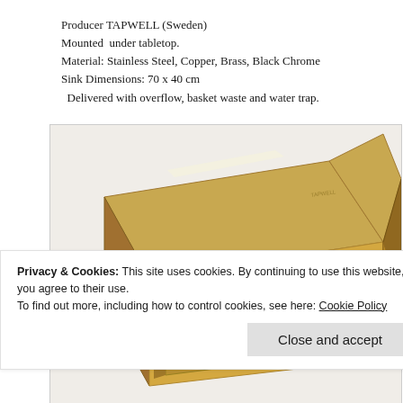Producer TAPWELL (Sweden)
Mounted  under tabletop.
Material: Stainless Steel, Copper, Brass, Black Chrome
Sink Dimensions: 70 x 40 cm
  Delivered with overflow, basket waste and water trap.
[Figure (photo): A brass/gold colored double-basin undermount kitchen sink viewed from a perspective angle, showing two bowls of different sizes with a basket waste drain visible in the larger bowl.]
Privacy & Cookies: This site uses cookies. By continuing to use this website, you agree to their use.
To find out more, including how to control cookies, see here: Cookie Policy
Close and accept